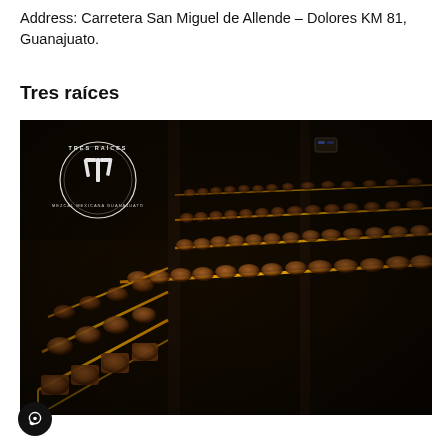Address: Carretera San Miguel de Allende – Dolores KM 81, Guanajuato.
Tres raíces
[Figure (photo): Interior of a dark barrel aging room with rows of wooden barrels stacked on illuminated metal racks with golden/amber LED lighting. A white circular logo reading 'TRES RAÍCES' with a stylized emblem is visible in the upper left of the image.]